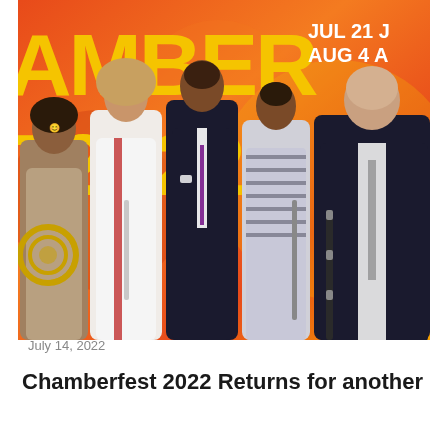[Figure (photo): Promotional photo for Chamberfest 2022: Five musicians standing together against an orange/red gradient background with large yellow text reading 'CHAMBER T2022' and white text 'JUL 21 J / AUG 4 AC'. From left to right: a man with dreadlocks holding a French horn, a woman in a white blazer holding a flute, a man in a dark suit, a woman in a striped dress, and a larger man in a dark suit holding a clarinet/saxophone.]
July 14, 2022
Chamberfest 2022 Returns for another